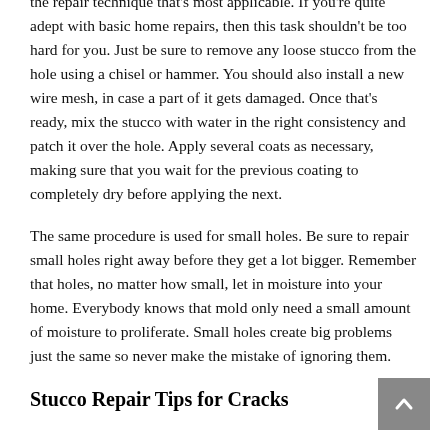the repair technique that's most applicable. If you're quite adept with basic home repairs, then this task shouldn't be too hard for you. Just be sure to remove any loose stucco from the hole using a chisel or hammer. You should also install a new wire mesh, in case a part of it gets damaged. Once that's ready, mix the stucco with water in the right consistency and patch it over the hole. Apply several coats as necessary, making sure that you wait for the previous coating to completely dry before applying the next.
The same procedure is used for small holes. Be sure to repair small holes right away before they get a lot bigger. Remember that holes, no matter how small, let in moisture into your home. Everybody knows that mold only need a small amount of moisture to proliferate. Small holes create big problems just the same so never make the mistake of ignoring them.
Stucco Repair Tips for Cracks